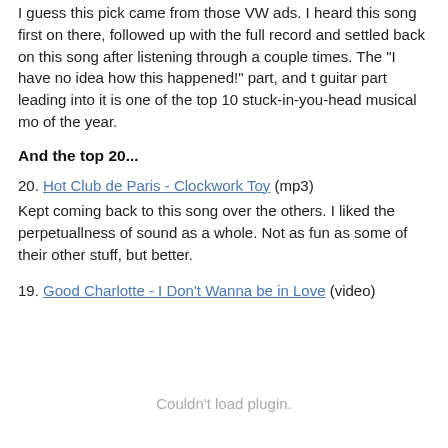I guess this pick came from those VW ads. I heard this song first on there, followed up with the full record and settled back on this song after listening through a couple times. The "I have no idea how this happened!" part, and the guitar part leading into it is one of the top 10 stuck-in-you-head musical moments of the year.
And the top 20...
20. Hot Club de Paris - Clockwork Toy (mp3)
Kept coming back to this song over the others. I liked the perpetuallness of the sound as a whole. Not as fun as some of their other stuff, but better.
19. Good Charlotte - I Don't Wanna be in Love (video)
Couldn't load plugin.